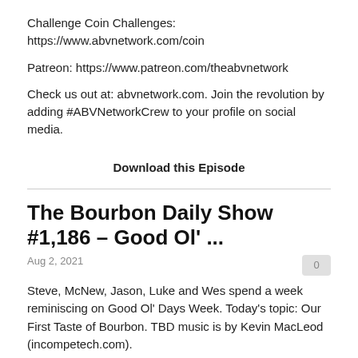Challenge Coin Challenges: https://www.abvnetwork.com/coin
Patreon: https://www.patreon.com/theabvnetwork
Check us out at: abvnetwork.com. Join the revolution by adding #ABVNetworkCrew to your profile on social media.
Download this Episode
The Bourbon Daily Show #1,186 – Good Ol' ...
Aug 2, 2021
Steve, McNew, Jason, Luke and Wes spend a week reminiscing on Good Ol' Days Week. Today's topic: Our First Taste of Bourbon. TBD music is by Kevin MacLeod (incompetech.com).
Important Links:
ABV Network Shop: https://shop.abvnetwork.com/